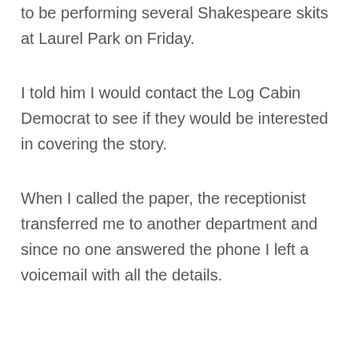to be performing several Shakespeare skits at Laurel Park on Friday.
I told him I would contact the Log Cabin Democrat to see if they would be interested in covering the story.
When I called the paper, the receptionist transferred me to another department and since no one answered the phone I left a voicemail with all the details.